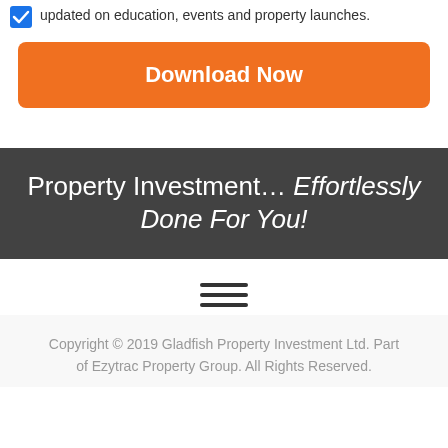updated on education, events and property launches.
Download Now
Property Investment… Effortlessly Done For You!
[Figure (other): Hamburger menu icon with three horizontal lines]
Copyright © 2019 Gladfish Property Investment Ltd. Part of Ezytrac Property Group. All Rights Reserved.